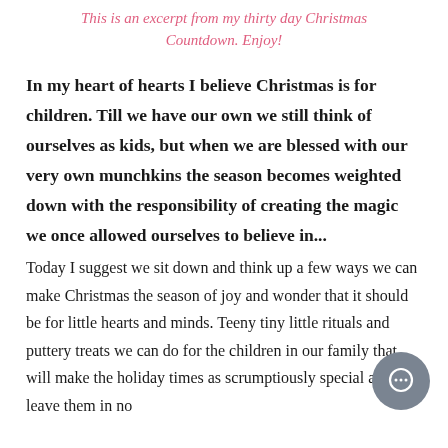This is an excerpt from my thirty day Christmas Countdown. Enjoy!
In my heart of hearts I believe Christmas is for children. Till we have our own we still think of ourselves as kids, but when we are blessed with our very own munchkins the season becomes weighted down with the responsibility of creating the magic we once allowed ourselves to believe in...
Today I suggest we sit down and think up a few ways we can make Christmas the season of joy and wonder that it should be for little hearts and minds. Teeny tiny little rituals and puttery treats we can do for the children in our family that will make the holiday times as scrumptiously special and leave them in no